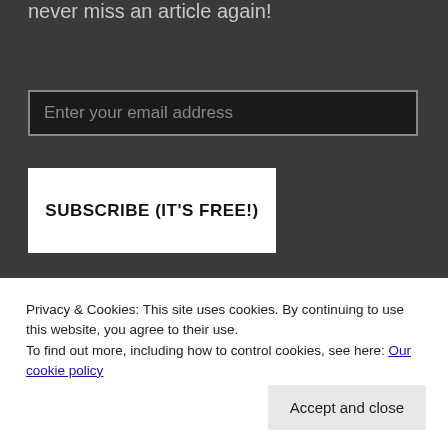never miss an article again!
Enter your email address
SUBSCRIBE (IT'S FREE!)
Join 820 other followers
SOCIAL MEDIA
Privacy & Cookies: This site uses cookies. By continuing to use this website, you agree to their use.
To find out more, including how to control cookies, see here: Our cookie policy
Accept and close